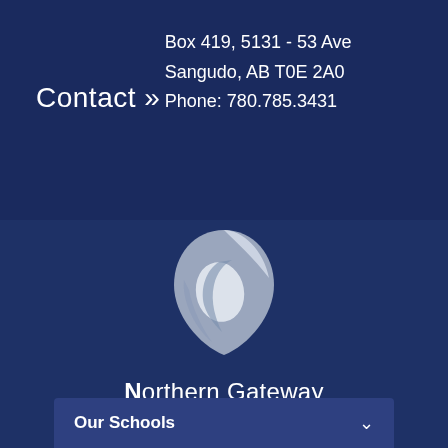Contact »
Box 419, 5131 - 53 Ave
Sangudo, AB T0E 2A0
Phone: 780.785.3431
[Figure (logo): Northern Gateway Public Schools logo — a stylized teardrop/shield shape in light grey and white tones]
Northern Gateway Public Schools
Our Schools